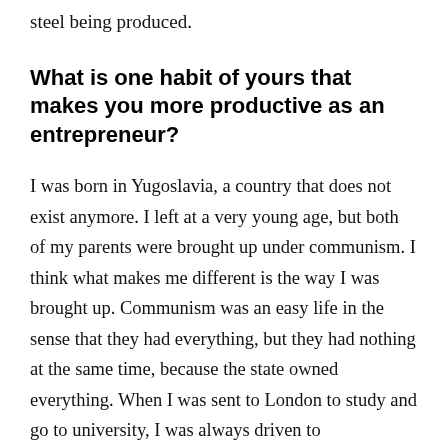steel being produced.
What is one habit of yours that makes you more productive as an entrepreneur?
I was born in Yugoslavia, a country that does not exist anymore. I left at a very young age, but both of my parents were brought up under communism. I think what makes me different is the way I was brought up. Communism was an easy life in the sense that they had everything, but they had nothing at the same time, because the state owned everything. When I was sent to London to study and go to university, I was always driven to